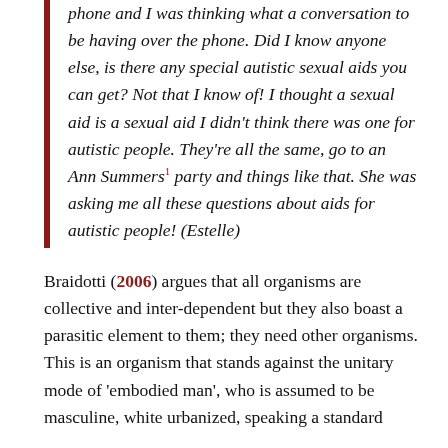phone and I was thinking what a conversation to be having over the phone. Did I know anyone else, is there any special autistic sexual aids you can get? Not that I know of! I thought a sexual aid is a sexual aid I didn't think there was one for autistic people. They're all the same, go to an Ann Summers¹ party and things like that. She was asking me all these questions about aids for autistic people! (Estelle)
Braidotti (2006) argues that all organisms are collective and inter-dependent but they also boast a parasitic element to them; they need other organisms. This is an organism that stands against the unitary mode of 'embodied man', who is assumed to be masculine, white urbanized, speaking a standard